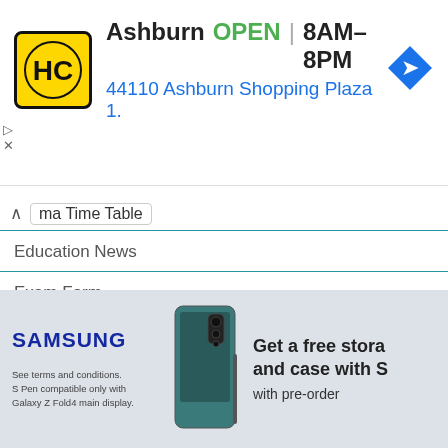[Figure (screenshot): Advertisement banner for Ashburn HC store: logo, OPEN status, hours 8AM-8PM, address 44110 Ashburn Shopping Plaza 1., navigation arrow icon]
ma Time Table
Education News
Exam Form
HSC Time Table
Intermediate Time Table
ITI Time Table
Model Papers
Notification
[Figure (screenshot): Samsung advertisement: SAMSUNG brand name, Galaxy Z Fold4 phone image, Get a free storage and case with S, with pre-order, fine print about terms and S Pen compatibility]